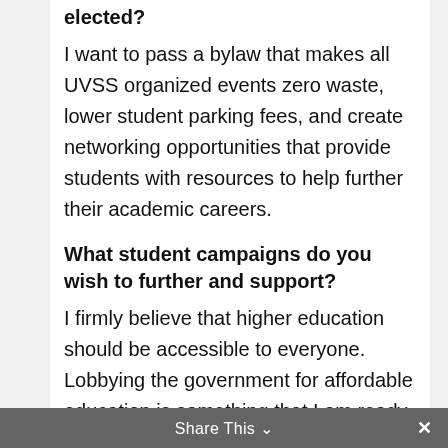elected?
I want to pass a bylaw that makes all UVSS organized events zero waste, lower student parking fees, and create networking opportunities that provide students with resources to help further their academic careers.
What student campaigns do you wish to further and support?
I firmly believe that higher education should be accessible to everyone. Lobbying the government for affordable education is something that I am ready to commit to. I wholeheartedly support
Share This ∨  ✕